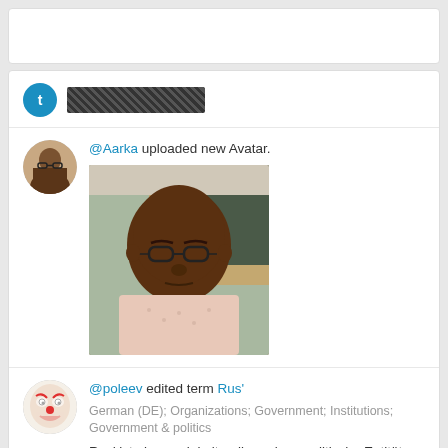[Figure (screenshot): Top card - empty white card]
[Figure (screenshot): Activity feed card showing user notifications: @Aarka uploaded new Avatar with photo, @poleev edited term Rus' with German description, @poleev added term Rus']
@Aarka uploaded new Avatar.
@poleev edited term Rus'
German (DE); Organizations; Government; Institutions; Government & politics
Rus' ist eine soziokulturelle und geopolitische Entität, zu deren anerkannten historischen Vorgängern das Russische ...
@poleev added term Rus'
German (DE); Organizations; Government; Institutions; Government & politics